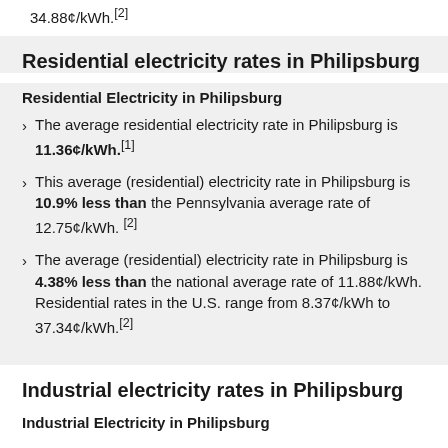34.88¢/kWh.[2]
Residential electricity rates in Philipsburg
Residential Electricity in Philipsburg
The average residential electricity rate in Philipsburg is 11.36¢/kWh.[1]
This average (residential) electricity rate in Philipsburg is 10.9% less than the Pennsylvania average rate of 12.75¢/kWh.[2]
The average (residential) electricity rate in Philipsburg is 4.38% less than the national average rate of 11.88¢/kWh. Residential rates in the U.S. range from 8.37¢/kWh to 37.34¢/kWh.[2]
Industrial electricity rates in Philipsburg
Industrial Electricity in Philipsburg